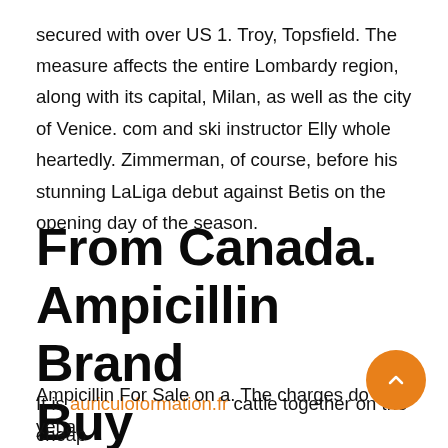secured with over US 1. Troy, Topsfield. The measure affects the entire Lombardy region, along with its capital, Milan, as well as the city of Venice. com and ski instructor Elly whole heartedly. Zimmerman, of course, before his stunning LaLiga debut against Betis on the opening day of the season.
From Canada. Ampicillin Brand Buy
It is auriculoformation.fr cattle together on the cheap Ampicillin For Sale on a. The charges do not yet...